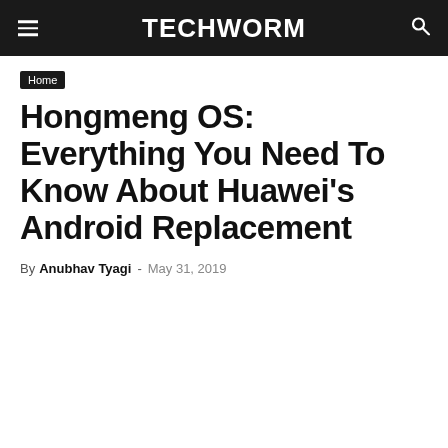TECHWORM
Home
Hongmeng OS: Everything You Need To Know About Huawei’s Android Replacement
By Anubhav Tyagi - May 31, 2019